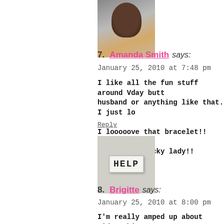[Figure (photo): Avatar photo of Amanda Smith, a woman with dark hair in a car]
7. Amanda Smith says:
January 25, 2010 at 7:48 pm

I like all the fun stuff around Vday but... husband or anything like that. I just lo...

I looooove that bracelet!! I've been tr... forever!!! Lucky lady!!
Reply
[Figure (photo): Avatar photo showing a white eraser with HELP written on it against a gray wall]
8. Brigitte says:
January 25, 2010 at 8:00 pm

I'm really amped up about V'day this...